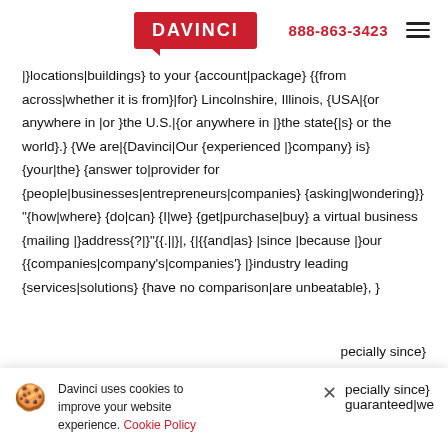DAVINCI | 888-863-3423
|}locations|buildings} to your {account|package} {{from across|whether it is from}|for} Lincolnshire, Illinois, {USA|{or anywhere in |or }the U.S.|{or anywhere in |}the state{|s} or the world}.} {We are|{Davinci|Our {experienced |}company} is} {your|the} {answer to|provider for {people|businesses|entrepreneurs|companies} {asking|wondering}} "{how|where} {do|can} {I|we} {get|purchase|buy} a virtual business {mailing |}address{?|}"{{.||}|, {|{{and|as} |since |because |}our {{companies|company's|companies'} |}industry leading {services|solutions} {have no comparison|are unbeatable}, }
pecially since} guaranteed|we
Davinci uses cookies to improve your website experience. Cookie Policy